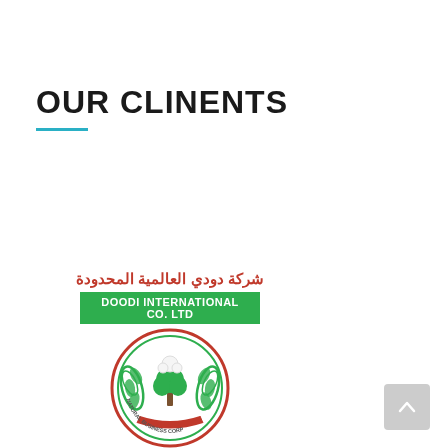OUR CLINENTS
[Figure (logo): Doodi International Co. Ltd logo — circular seal with Arabic text 'شركة دودي العالمية المحدودة' above a green banner reading 'DOODI INTERNATIONAL CO. LTD', and a circular emblem featuring leaves, a tree, and a cotton motif with the text 'NATURAL BUSINESS CORP' around the border.]
[Figure (other): Scroll-to-top button (gray rounded square with upward-pointing chevron arrow) in the bottom-right corner.]